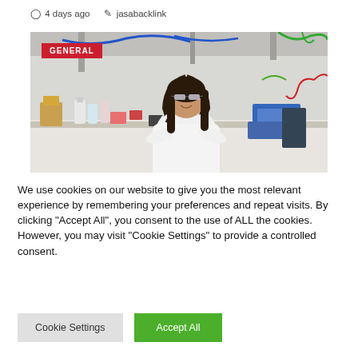4 days ago   jasabacklink
[Figure (photo): Woman in white lab coat and safety glasses standing with arms crossed in a laboratory with equipment, tubes, and instruments visible. Red 'GENERAL' badge in top-left corner.]
We use cookies on our website to give you the most relevant experience by remembering your preferences and repeat visits. By clicking "Accept All", you consent to the use of ALL the cookies. However, you may visit "Cookie Settings" to provide a controlled consent.
Cookie Settings   Accept All